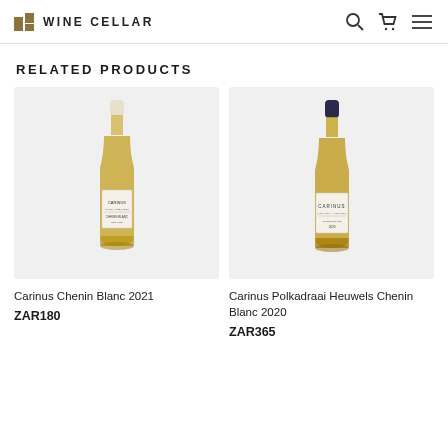WINE CELLAR
RELATED PRODUCTS
[Figure (photo): Wine bottle: Carinus Chenin Blanc 2021, white wine bottle with cream label on light grey background]
Carinus Chenin Blanc 2021
ZAR180
[Figure (photo): Wine bottle: Carinus Polkadraai Heuwels Chenin Blanc 2020, white wine bottle with dark navy cap and cream label on light grey background]
Carinus Polkadraai Heuwels Chenin Blanc 2020
ZAR365